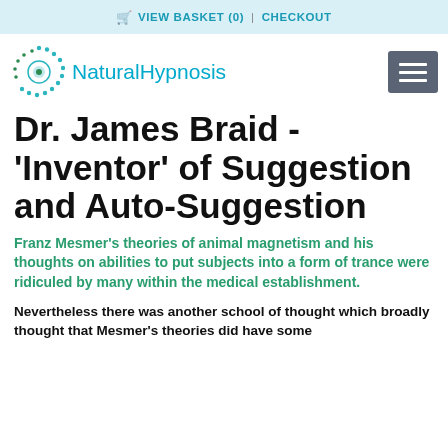🛒 VIEW BASKET (0) | CHECKOUT
[Figure (logo): NaturalHypnosis logo with circular dotted graphic and teal text]
Dr. James Braid - 'Inventor' of Suggestion and Auto-Suggestion
Franz Mesmer's theories of animal magnetism and his thoughts on abilities to put subjects into a form of trance were ridiculed by many within the medical establishment.
Nevertheless there was another school of thought which broadly thought that Mesmer's theories did have some